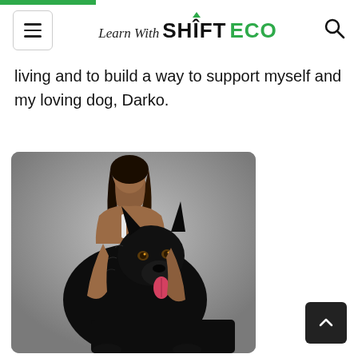Learn With SHIFT ECO
living and to build a way to support myself and my loving dog, Darko.
[Figure (photo): A smiling woman with long dark hair posing with a large black dog (German Shepherd) against a grey studio background.]